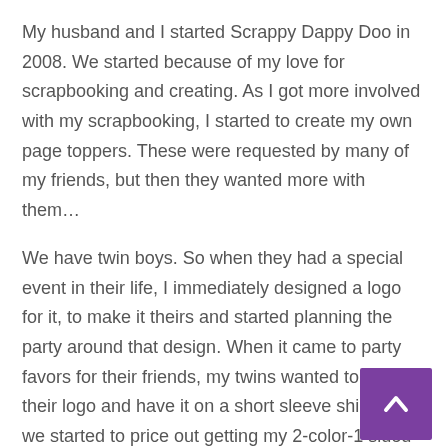My husband and I started Scrappy Dappy Doo in 2008.  We started because of my love for scrapbooking and creating.  As I got more involved with my scrapbooking, I started to create my own page toppers. These were requested by many of my friends, but then they wanted more with them…
We have twin boys.  So when they had a special event in their life, I immediately designed a logo for it, to make it theirs and started planning the party around that design.  When it came to party favors for their friends, my twins wanted to take their logo and have it on a short sleeve shirt…so we started to price out getting my 2-color-1 sided design priced.  What I learned, nobody wanted to touch my project. I finally started to ask why?  Answers I got absolutely blew my mind and I knew I could do better myself.  Hubby did all the research, and we purchased a single station, 4-color screen press.  I opened up an account with a shirt wholesaler, and purchased 4-dozen shirts, figuring I would up a whole bunch more than what I really needed.  We made the
[Figure (other): Purple back-to-top button with white upward-pointing chevron arrow]